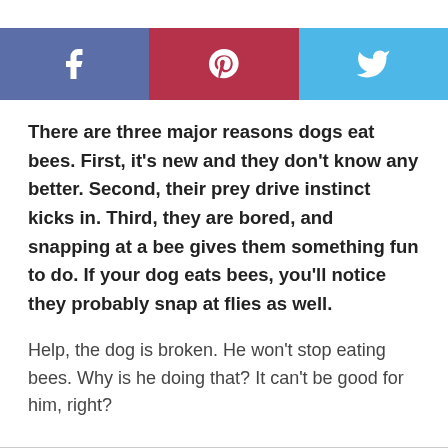[Figure (infographic): Social share buttons: Facebook (blue-gray), Pinterest (dark red), Twitter (light blue), each with their respective icons in white]
There are three major reasons dogs eat bees. First, it's new and they don't know any better. Second, their prey drive instinct kicks in. Third, they are bored, and snapping at a bee gives them something fun to do. If your dog eats bees, you'll notice they probably snap at flies as well.
Help, the dog is broken. He won't stop eating bees. Why is he doing that? It can't be good for him, right?